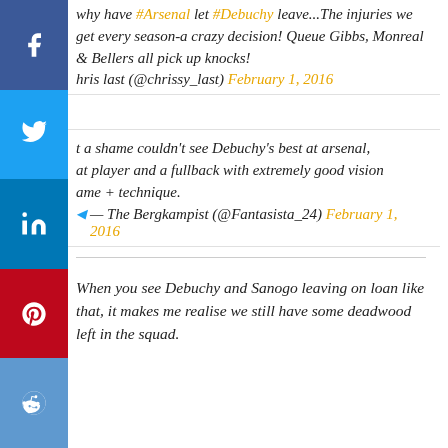why have #Arsenal let #Debuchy leave...The injuries we get every season-a crazy decision! Queue Gibbs, Monreal & Bellers all pick up knocks!
chris last (@chrissy_last) February 1, 2016
a shame couldn't see Debuchy's best at arsenal, at player and a fullback with extremely good vision ame + technique.
— The Bergkampist (@Fantasista_24) February 1, 2016
When you see Debuchy and Sanogo leaving on loan like that, it makes me realise we still have some deadwood left in the squad.